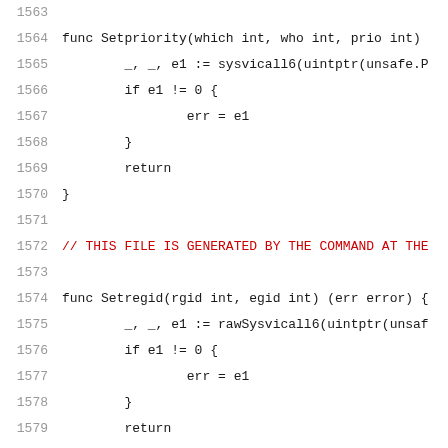Source code lines 1563-1584, Go programming language file with Setpriority, Setregid, and Setruid function definitions and generated file comments.